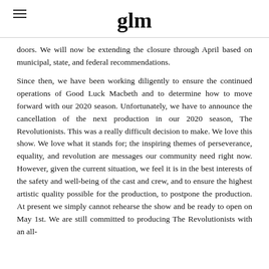glm [logo]
doors. We will now be extending the closure through April based on municipal, state, and federal recommendations.
Since then, we have been working diligently to ensure the continued operations of Good Luck Macbeth and to determine how to move forward with our 2020 season. Unfortunately, we have to announce the cancellation of the next production in our 2020 season, The Revolutionists. This was a really difficult decision to make. We love this show. We love what it stands for; the inspiring themes of perseverance, equality, and revolution are messages our community need right now. However, given the current situation, we feel it is in the best interests of the safety and well-being of the cast and crew, and to ensure the highest artistic quality possible for the production, to postpone the production. At present we simply cannot rehearse the show and be ready to open on May 1st. We are still committed to producing The Revolutionists with an all-